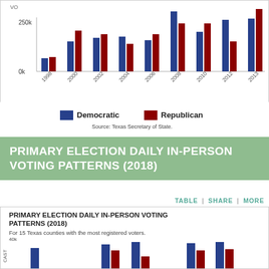[Figure (grouped-bar-chart): Primary Election Voting (partial)]
Democratic  Republican
Source: Texas Secretary of State.
PRIMARY ELECTION DAILY IN-PERSON VOTING PATTERNS (2018)
TABLE | SHARE | MORE
PRIMARY ELECTION DAILY IN-PERSON VOTING PATTERNS (2018)
For 15 Texas counties with the most registered voters.
[Figure (grouped-bar-chart): Primary Election Daily In-Person Voting Patterns (2018)]